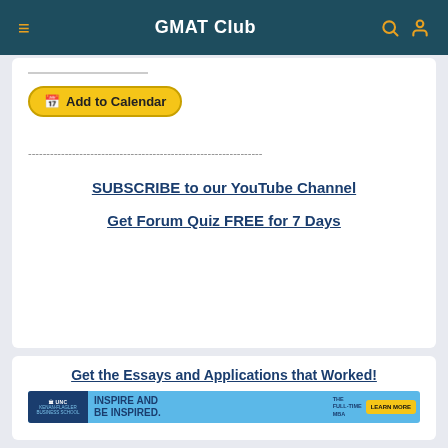GMAT Club
Add to Calendar
----------------------------------------------------------------
SUBSCRIBE to our YouTube Channel
Get Forum Quiz FREE for 7 Days
Get the Essays and Applications that Worked!
[Figure (infographic): UNC Kenan-Flagler Business School banner ad: INSPIRE AND BE INSPIRED. THE FULL-TIME MBA. LEARN MORE button.]